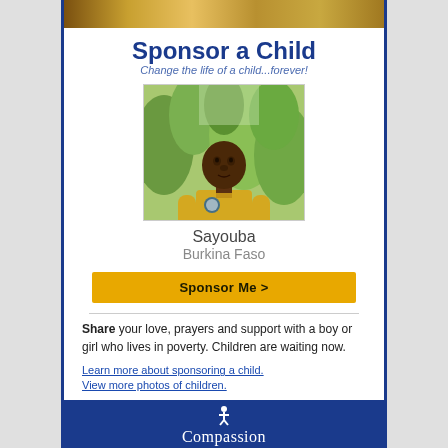[Figure (photo): Top banner with partial photo of smiling person]
Sponsor a Child
Change the life of a child...forever!
[Figure (photo): Photo of a boy named Sayouba from Burkina Faso, wearing a yellow polo shirt, standing in front of green plants]
Sayouba
Burkina Faso
Sponsor Me >
Share your love, prayers and support with a boy or girl who lives in poverty. Children are waiting now.
Learn more about sponsoring a child.
View more photos of children.
[Figure (logo): Compassion International logo on dark blue footer bar]